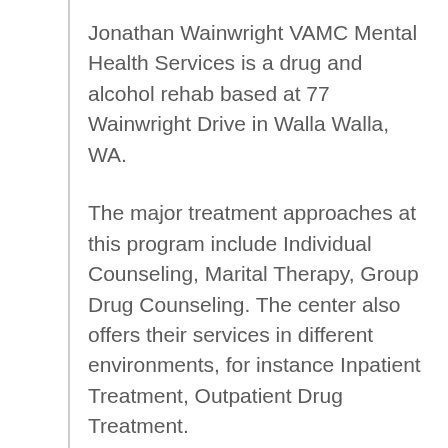Jonathan Wainwright VAMC Mental Health Services is a drug and alcohol rehab based at 77 Wainwright Drive in Walla Walla, WA.
The major treatment approaches at this program include Individual Counseling, Marital Therapy, Group Drug Counseling. The center also offers their services in different environments, for instance Inpatient Treatment, Outpatient Drug Treatment.
Jonathan Wainwright VAMC Mental Health Services also offers various programs that are customized to address the needs of specific clients such as: Drug and Alcohol Rehab for Persons with Co-Occurring Mental and Substance Use Disorders. Finally,